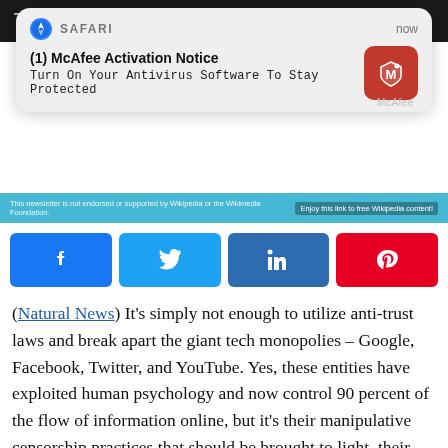[Figure (screenshot): Dark top image strip with 'Translate...' text partially visible]
[Figure (screenshot): Safari browser push notification popup: '(1) McAfee Activation Notice – Turn On Your Antivirus Software To Stay Protected' with McAfee red icon, labeled SAFARI, time: now]
[Figure (screenshot): Wikipedia cyan/teal banner strip with small text on left and 'Enjoy this link to free Wikipedia content!' on right]
[Figure (infographic): Four social share buttons: Facebook (blue), Twitter (light blue), LinkedIn (dark blue), Pinterest (red)]
(Natural News) It's simply not enough to utilize anti-trust laws and break apart the giant tech monopolies – Google, Facebook, Twitter, and YouTube. Yes, these entities have exploited human psychology and now control 90 percent of the flow of information online, but it's their manipulative censorship practices that should be brought to light, their executives brought to justice. The CEOs of these tech companies should be arrested and indicted because they were all complicit in the Russia collusion hoax and the manipulative